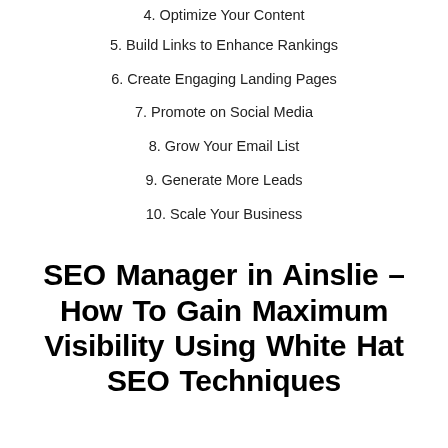4. Optimize Your Content
5. Build Links to Enhance Rankings
6. Create Engaging Landing Pages
7. Promote on Social Media
8. Grow Your Email List
9. Generate More Leads
10. Scale Your Business
SEO Manager in Ainslie – How To Gain Maximum Visibility Using White Hat SEO Techniques